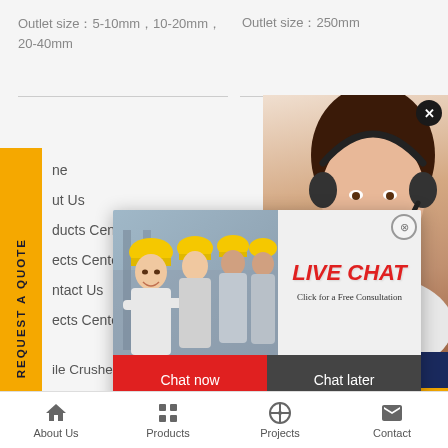Outlet size5-10mm10-20mm 20-40mm
Outlet size250mm
[Figure (screenshot): Live Chat popup overlay with workers in hard hats, LIVE CHAT title in red, 'Click for a Free Consultation' subtitle, Chat now (red) and Chat later (dark) buttons]
[Figure (photo): Customer service representative wearing headset, smiling, on right side panel]
have any requests, ick here.
Quotation
Enquiry
drobilkalm @gmail.com
ne
ut Us
ducts Cent
ects Cente
ntact Us
ects Cente
ile Crushers
d Stone Crushers
VSI Crusher
Grinding Mill
About Us   Products   Projects   Contact